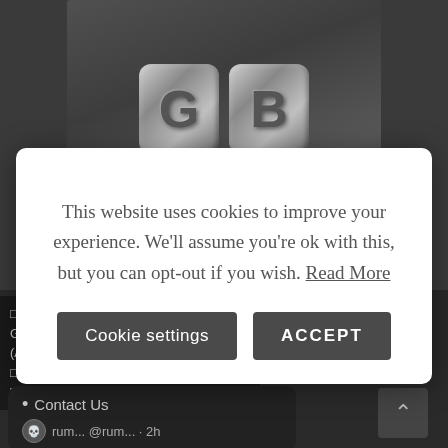[Figure (logo): GB Gabriel logo on dark brushed metal background. Two rounded square letters 'G' and 'B' in silver/chrome style above the word 'GABRIEL' in light gray spaced capitals.]
This website uses cookies to improve your experience. We'll assume you're ok with this, but you can opt-out if you wish. Read More
Cookie settings
ACCEPT
□□□□□ GB□□□□□□□□□□□ (ALPHA□□□)□ □□□□□□□□□□□w □□□□□□□□□
• Contact Us
rum... @rum... · 2h